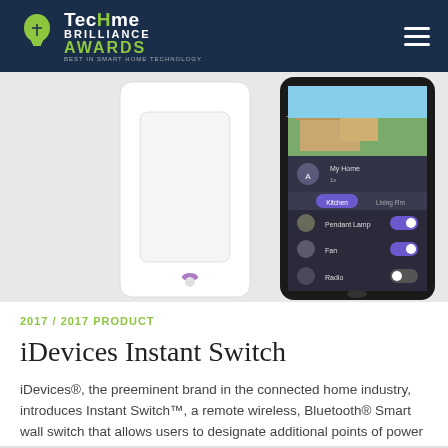TecHome Brilliance Awards
[Figure (photo): Product photo showing the iDevices Instant Switch wall plate on the left side and a smartphone running the iDevices app on the right side, displaying home automation controls including Pendant Lamp, Fan, and Radio.]
2017 / 2017 PRODUCT
iDevices Instant Switch
iDevices®, the preeminent brand in the connected home industry, introduces Instant Switch™, a remote wireless, Bluetooth® Smart wall switch that allows users to designate additional points of power control anywhere …